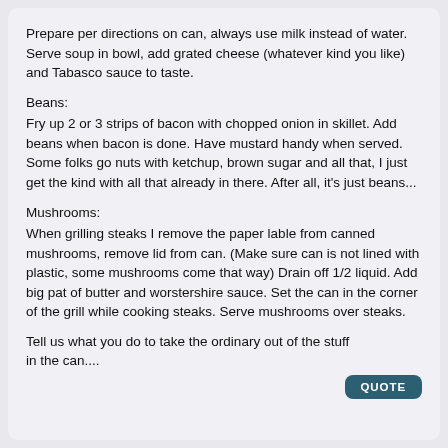Prepare per directions on can, always use milk instead of water. Serve soup in bowl, add grated cheese (whatever kind you like) and Tabasco sauce to taste.
Beans:
Fry up 2 or 3 strips of bacon with chopped onion in skillet. Add beans when bacon is done. Have mustard handy when served. Some folks go nuts with ketchup, brown sugar and all that, I just get the kind with all that already in there. After all, it's just beans...
Mushrooms:
When grilling steaks I remove the paper lable from canned mushrooms, remove lid from can. (Make sure can is not lined with plastic, some mushrooms come that way) Drain off 1/2 liquid. Add big pat of butter and worstershire sauce. Set the can in the corner of the grill while cooking steaks. Serve mushrooms over steaks.
Tell us what you do to take the ordinary out of the stuff in the can....